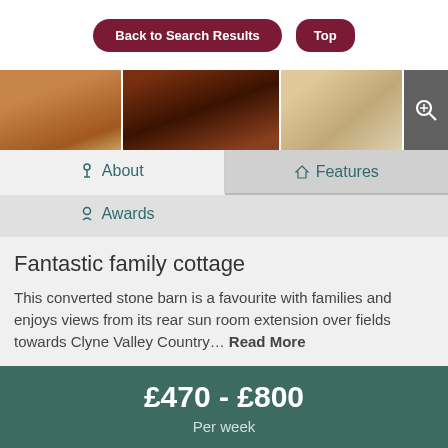[Figure (screenshot): Top navigation buttons: 'Back to Search Results' and 'Top' in dark red rounded buttons]
[Figure (photo): Strip of three property photos showing wooden floors, dark interior, and light tiled floor]
About
Features
Awards
Fantastic family cottage
This converted stone barn is a favourite with families and enjoys views from its rear sun room extension over fields towards Clyne Valley Country... Read More
£470 - £800
Per week
Arrival Date